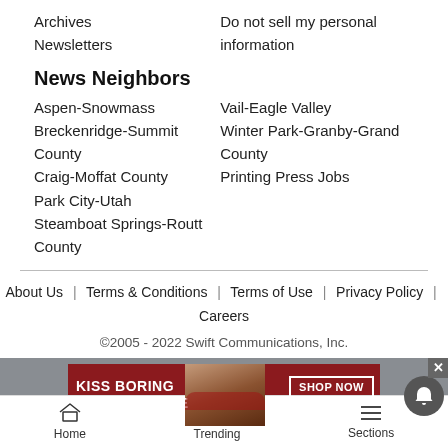Archives
Newsletters
Do not sell my personal information
News Neighbors
Aspen-Snowmass
Vail-Eagle Valley
Breckenridge-Summit County
Winter Park-Granby-Grand County
Craig-Moffat County
Printing Press Jobs
Park City-Utah
Steamboat Springs-Routt County
About Us  |  Terms & Conditions  |  Terms of Use  |  Privacy Policy  |  Careers
©2005 - 2022 Swift Communications, Inc.
[Figure (photo): Macy's advertisement banner: 'KISS BORING LIPS GOODBYE' with SHOP NOW button and Macy's star logo, featuring a woman's face with red lipstick]
Home  Trending  Sections